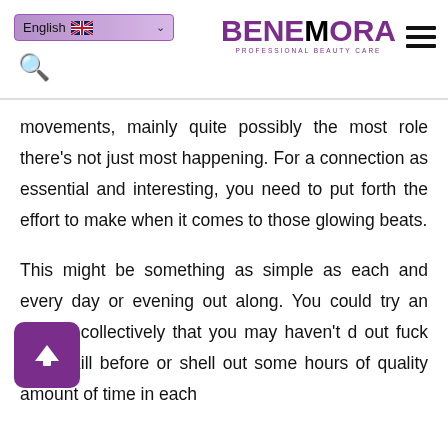English | BENEMORA PROFESSIONAL BEAUTY CARE
movements, mainly quite possibly the most role there’s not just most happening. For a connection as essential and interesting, you need to put forth the effort to make when it comes to those glowing beats.
This might be something as simple as each and every day or evening out along. You could try an activity collectively that you may haven’t d out fuck marry kill before or shell out some hours of quality amount of time in each